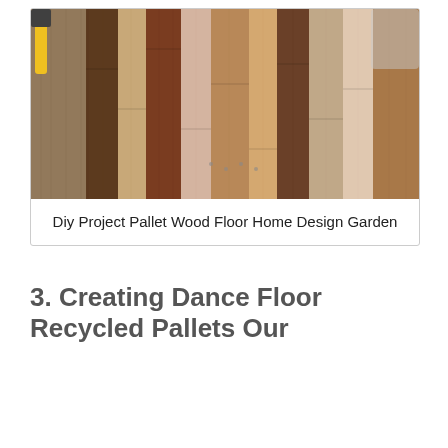[Figure (photo): Photo of pallet wood flooring being installed, showing various wood planks in different shades (dark brown, medium tan, light pink/white) laid diagonally across a plywood subfloor. A yellow-handled hammer is visible in the top-left corner.]
Diy Project Pallet Wood Floor Home Design Garden
3. Creating Dance Floor Recycled Pallets Our